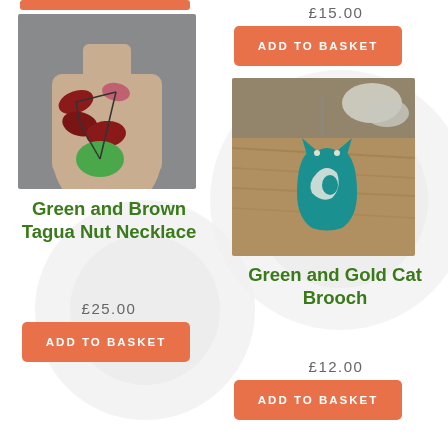[Figure (photo): Green and Brown Tagua Nut Necklace displayed on a mannequin bust]
Green and Brown Tagua Nut Necklace
£25.00
ADD TO BASKET
£15.00
ADD TO BASKET
[Figure (photo): Green and Gold Cat Brooch displayed on a wooden surface]
Green and Gold Cat Brooch
£12.00
ADD TO BASKET